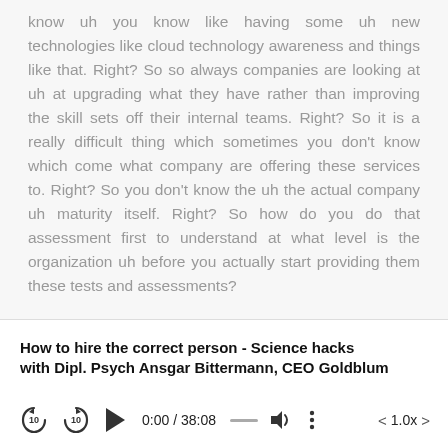know uh you know like having some uh new technologies like cloud technology awareness and things like that. Right? So so always companies are looking at uh at upgrading what they have rather than improving the skill sets off their internal teams. Right? So it is a really difficult thing which sometimes you don't know which come what company are offering these services to. Right? So you don't know the uh the actual company uh maturity itself. Right? So how do you do that assessment first to understand at what level is the organization uh before you actually start providing them these tests and assessments?
How to hire the correct person - Science hacks with Dipl. Psych Ansgar Bittermann, CEO Goldblum
[Figure (other): Audio player controls showing: rewind 10s button, forward 10s button, play button, time display 0:00 / 38:08, progress bar, volume icon, more options (three dots), playback speed controls showing < 1.0x >]